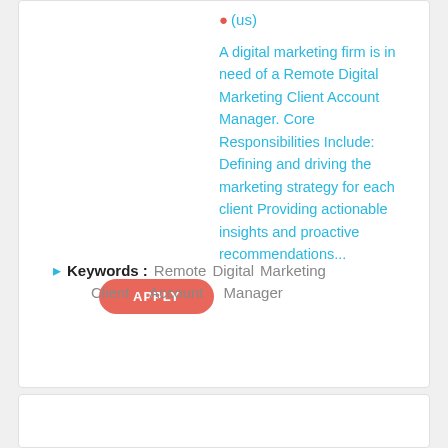(us)
A digital marketing firm is in need of a Remote Digital Marketing Client Account Manager. Core Responsibilities Include: Defining and driving the marketing strategy for each client Providing actionable insights and proactive recommendations...
APPLY
Keywords : Remote Digital Marketing Client Account Manager